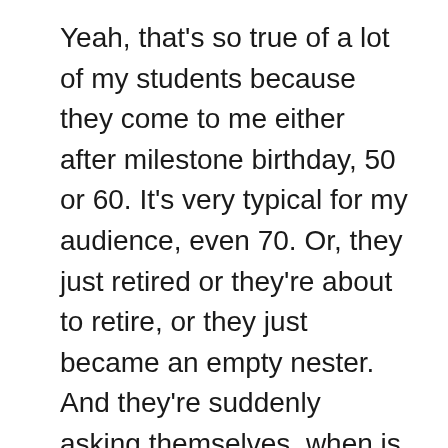Yeah, that's so true of a lot of my students because they come to me either after milestone birthday, 50 or 60. It's very typical for my audience, even 70. Or, they just retired or they're about to retire, or they just became an empty nester. And they're suddenly asking themselves, when is it my time? All those excuses I had, I don't have anymore. And those are the lucky ones, who do finally ask themselves that question.
Lacy Boggs: They get the opportunity to grab it,